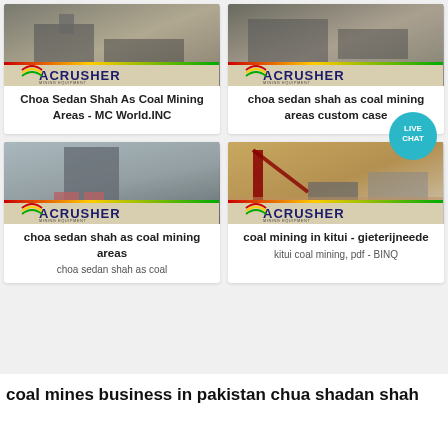[Figure (photo): Top-left card: Acrusher mining equipment photo with Acrusher logo banner. Title: Choa Sedan Shah As Coal Mining Areas - MC World.INC]
[Figure (photo): Top-right card: Acrusher mining equipment photo with Acrusher logo banner and Live Chat bubble overlay. Title: choa sedan shah as coal mining areas custom case]
[Figure (photo): Bottom-left card: Acrusher mining equipment/dust collector photo with Acrusher logo banner. Title: choa sedan shah as coal mining areas. Subtitle: choa sedan shah as coal]
[Figure (photo): Bottom-right card: Acrusher mining conveyor/crusher photo with Acrusher logo banner. Title: coal mining in kitui - gieterijneede. Subtitle: kitui coal mining, pdf - BINQ]
coal mines business in pakistan chua shadan shah